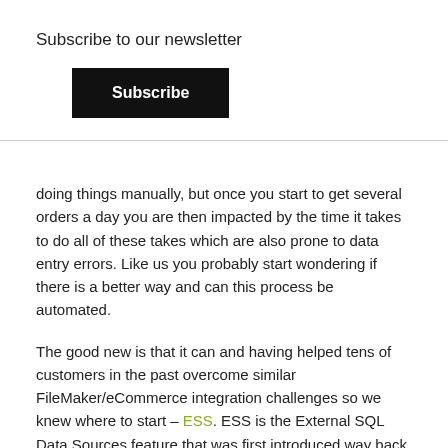Subscribe to our newsletter
Subscribe
doing things manually, but once you start to get several orders a day you are then impacted by the time it takes to do all of these takes which are also prone to data entry errors. Like us you probably start wondering if there is a better way and can this process be automated.
The good new is that it can and having helped tens of customers in the past overcome similar FileMaker/eCommerce integration challenges so we knew where to start – ESS. ESS is the External SQL Data Sources feature that was first introduced way back with FileMaker Pro v9 and allows you to establish a live two-way connection between FileMaker Pro and the top SQL data sources. ESS originally supported these SQL data sources: